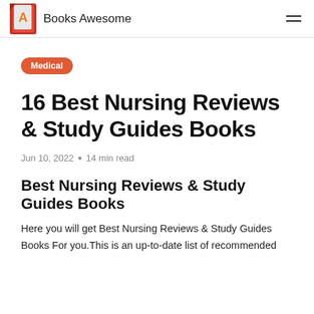Books Awesome
Medical
16 Best Nursing Reviews & Study Guides Books
Jun 10, 2022 • 14 min read
Best Nursing Reviews & Study Guides Books
Here you will get Best Nursing Reviews & Study Guides Books For you.This is an up-to-date list of recommended